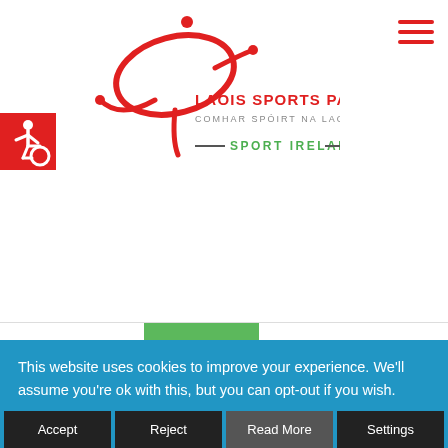[Figure (logo): Laois Sports Partnership logo with red cursive swoosh figure and text: LAOIS SPORTS PARTNERSHIP, COMHAR SPÓIRT NA LAOISE, and SPORT IRELAND with decorative dashes]
[Figure (other): Red hamburger menu icon (three horizontal red lines) in top right corner]
[Figure (other): Red square accessibility icon with white wheelchair symbol]
Categories ▾
✕ Tags ▾
This website uses cookies to improve your experience. We'll assume you're ok with this, but you can opt-out if you wish.
Accept
Reject
Read More
Settings